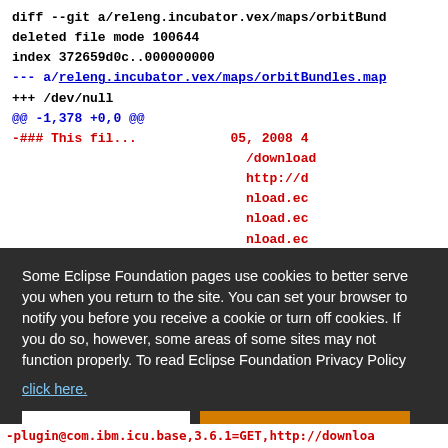diff --git a/releng.incubator.vex/maps/orbitBund...
deleted file mode 100644
index 372659d0c..000000000
--- a/releng.incubator.vex/maps/orbitBundles.map
+++ /dev/null
@@ -1,378 +0,0 @@
-### This fil... ...October 05, 2008 4...
/download...
http://d...
nload.ec...
nload.ec...
nload.ec...
nload.ec...
//downlo...
//downlo...
Some Eclipse Foundation pages use cookies to better serve you when you return to the site. You can set your browser to notify you before you receive a cookie or turn off cookies. If you do so, however, some areas of some sites may not function properly. To read Eclipse Foundation Privacy Policy click here.
-plugin@com.ibm.icu.base,3.6.1=GET,http://downlo...